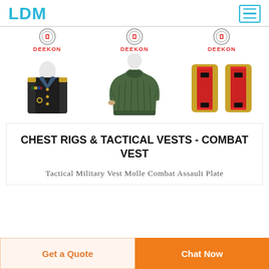LDM
[Figure (photo): Three product images with DEEKON brand logo: military dress uniform jacket, olive green military sweater, and gold/red military epaulettes/shoulder boards]
CHEST RIGS & TACTICAL VESTS - COMBAT VEST
Tactical Military Vest Molle Combat Assault Plate
Get a Quote
Chat Now